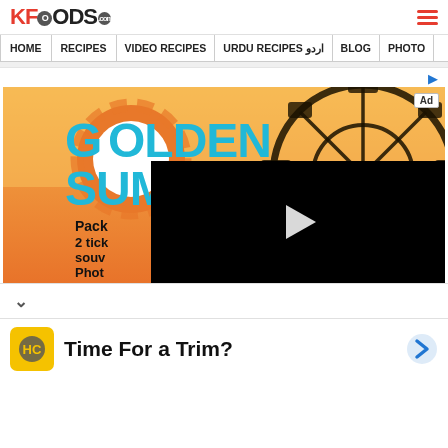KFOODS.com
HOME | RECIPES | VIDEO RECIPES | URDU RECIPES اردو | BLOG | PHOTO
[Figure (photo): Golden Summer advertisement banner showing a ferris wheel silhouette at sunset with large cyan text reading GOLDEN SUMMER, orange sun graphic, and text about packages, tickets, souvenirs, photos. A black video player overlay with a play button is visible in the lower right portion.]
Time For a Trim?